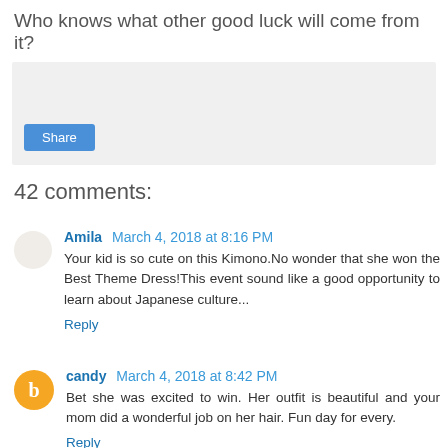Who knows what other good luck will come from it?
[Figure (other): Share widget placeholder box with a Share button]
42 comments:
Amila  March 4, 2018 at 8:16 PM
Your kid is so cute on this Kimono.No wonder that she won the Best Theme Dress!This event sound like a good opportunity to learn about Japanese culture...
Reply
candy  March 4, 2018 at 8:42 PM
Bet she was excited to win. Her outfit is beautiful and your mom did a wonderful job on her hair. Fun day for every.
Reply